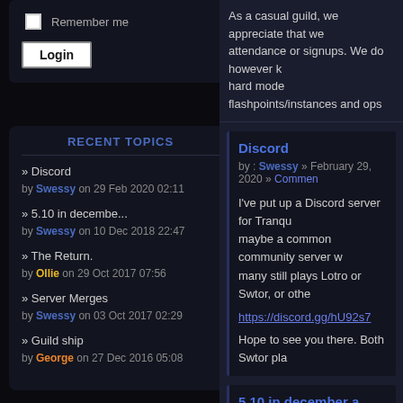Remember me
Login
RECENT TOPICS
» Discord by Swessy on 29 Feb 2020 02:11
» 5.10 in decembe... by Swessy on 10 Dec 2018 22:47
» The Return. by Ollie on 29 Oct 2017 07:56
» Server Merges by Swessy on 03 Oct 2017 02:29
» Guild ship by George on 27 Dec 2016 05:08
As a casual guild, we appreciate that we... attendance or signups. We do however k... hard mode flashpoints/instances and ops...
Discord
by : Swessy » February 29, 2020 » Comments
I've put up a Discord server for Tranqu... maybe a common community server w... many still plays Lotro or Swtor, or othe...
https://discord.gg/hU92s7
Hope to see you there. Both Swtor pla...
5.10 in december a guild update
by : Swessy » November 9, 2018 » Comments
5.10 is going to be a decently large up... some guild updates as well.